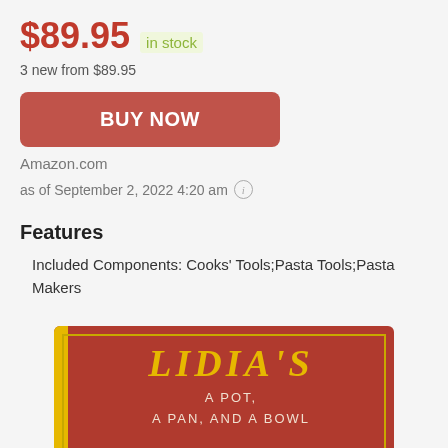$89.95  in stock
3 new from $89.95
BUY NOW
Amazon.com
as of September 2, 2022 4:20 am ⓘ
Features
Included Components: Cooks' Tools;Pasta Tools;Pasta Makers
[Figure (photo): Book cover of Lidia's A Pot, A Pan, and A Bowl — red cover with yellow lettering and gold border, yellow spine strip]